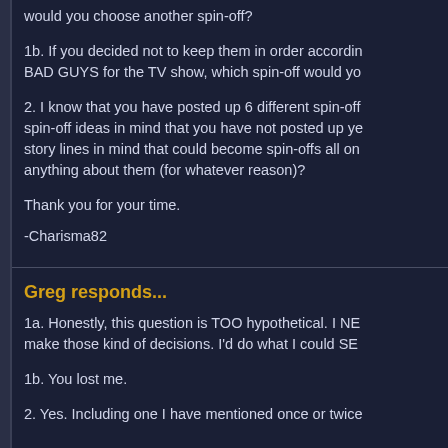would you choose another spin-off?
1b. If you decided not to keep them in order according to BAD GUYS for the TV show, which spin-off would yo...
2. I know that you have posted up 6 different spin-off... spin-off ideas in mind that you have not posted up ye... story lines in mind that could become spin-offs all on... anything about them (for whatever reason)?
Thank you for your time.
-Charisma82
Greg responds...
1a. Honestly, this question is TOO hypothetical. I NE... make those kind of decisions. I'd do what I could SE...
1b. You lost me.
2. Yes. Including one I have mentioned once or twice...